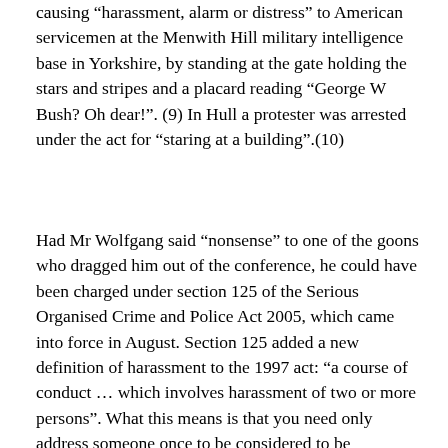causing “harassment, alarm or distress” to American servicemen at the Menwith Hill military intelligence base in Yorkshire, by standing at the gate holding the stars and stripes and a placard reading “George W Bush? Oh dear!”. (9) In Hull a protester was arrested under the act for “staring at a building”.(10)
Had Mr Wolfgang said “nonsense” to one of the goons who dragged him out of the conference, he could have been charged under section 125 of the Serious Organised Crime and Police Act 2005, which came into force in August. Section 125 added a new definition of harassment to the 1997 act: “a course of conduct … which involves harassment of two or more persons”. What this means is that you need only address someone once to be considered to be harassing them, as long as you have also addressed someone else in the same manner. This provision, in other words, can be used to criminalise any protest anywhere. But when the bill passed through the